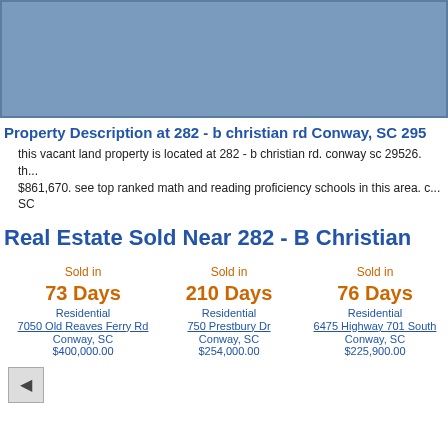[Figure (map): Map image showing area around 282 - B Christian Rd, Conway, SC]
Property Description at 282 - b christian rd Conway, SC 295...
this vacant land property is located at 282 - b christian rd. conway sc 29526. th... $861,670. see top ranked math and reading proficiency schools in this area. c... SC
Real Estate Sold Near 282 - B Christian...
Sold in
73 Days
Residential
7050 Old Reaves Ferry Rd
Conway, SC
$400,000.00
Sold in
210 Days
Residential
750 Prestbury Dr
Conway, SC
$254,000.00
Sold in
76 Days
Residential
6475 Highway 701 South
Conway, SC
$225,900.00